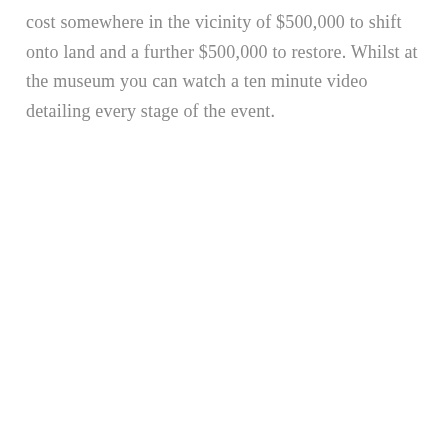cost somewhere in the vicinity of $500,000 to shift onto land and a further $500,000 to restore. Whilst at the museum you can watch a ten minute video detailing every stage of the event.